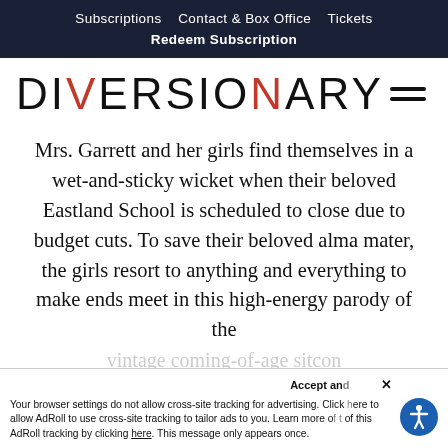Subscriptions   Contact & Box Office   Tickets
Redeem Subscription
[Figure (logo): DIVERSIONARY text logo with red V and red A letters, and hamburger menu icon on right]
Mrs. Garrett and her girls find themselves in a wet-and-sticky wicket when their beloved Eastland School is scheduled to close due to budget cuts. To save their beloved alma mater, the girls resort to anything and everything to make ends meet in this high-energy parody of the vintage coming-of-age sitcom
Your browser settings do not allow cross-site tracking for advertising. Click here to allow AdRoll to use cross-site tracking to tailor ads to you. Learn more or opt out of this AdRoll tracking by clicking here. This message only appears once.